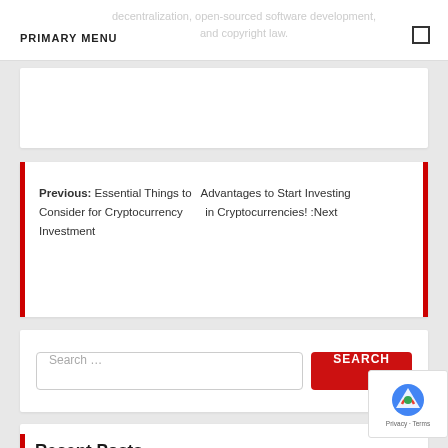PRIMARY MENU
decentralization, open-sourced software development, and copyright law.
Previous: Essential Things to Consider for Cryptocurrency Investment   Advantages to Start Investing in Cryptocurrencies! :Next
Search …
Recent Posts
EDUCATION – SHARED VALUE